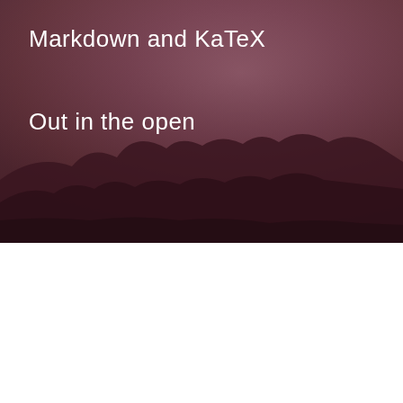[Figure (photo): Dark moody sunset/dusk sky background with purple-red gradient tones and silhouetted clouds at the bottom]
Markdown and KaTeX
Out in the open
Trusted by
[Figure (logo): Airbnb logo with triangle/arch icon and 'airbnb' wordmark in gray]
[Figure (logo): Amazon Web Services logo with grid of boxes icon and 'amazon web services' wordmark in gray]